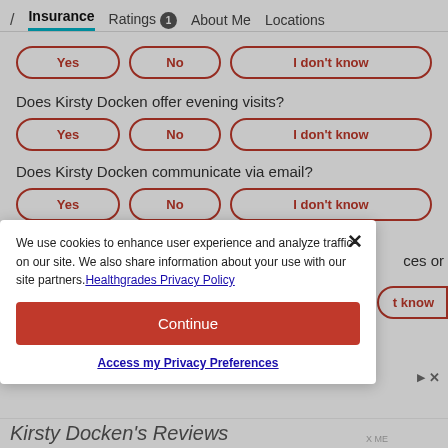/ Insurance Ratings 1 About Me Locations
Yes No I don't know
Does Kirsty Docken offer evening visits?
Yes No I don't know
Does Kirsty Docken communicate via email?
Yes No I don't know
We use cookies to enhance user experience and analyze traffic on our site. We also share information about your use with our site partners. Healthgrades Privacy Policy
Continue
Access my Privacy Preferences
Kirsty Docken's Reviews